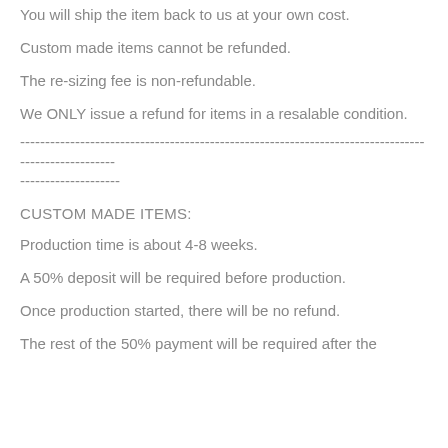You will ship the item back to us at your own cost.
Custom made items cannot be refunded.
The re-sizing fee is non-refundable.
We ONLY issue a refund for items in a resalable condition.
----------------------------------------------------------------------------------------------------
--------------------
CUSTOM MADE ITEMS:
Production time is about 4-8 weeks.
A 50% deposit will be required before production.
Once production started, there will be no refund.
The rest of the 50% payment will be required after the